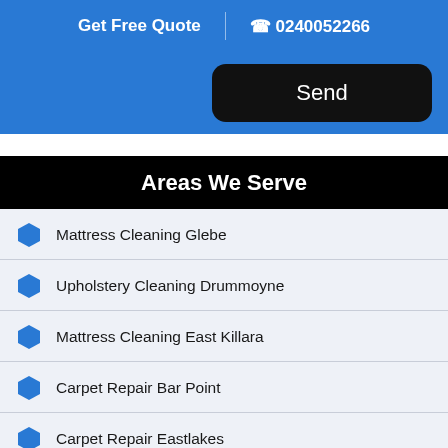Get Free Quote | 0240052266
[Figure (screenshot): Blue background section with a black rounded 'Send' button on the right]
Areas We Serve
Mattress Cleaning Glebe
Upholstery Cleaning Drummoyne
Mattress Cleaning East Killara
Carpet Repair Bar Point
Carpet Repair Eastlakes
Tile and Grout Cleaning Canoelands